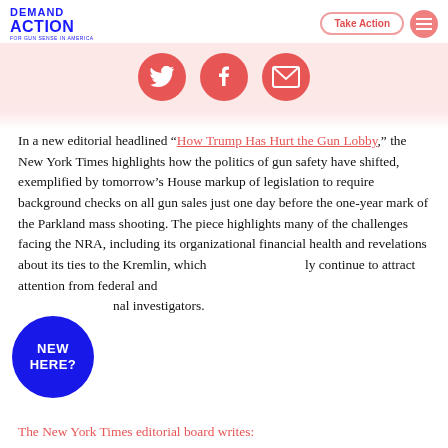DEMAND ACTION FOR GUN SENSE IN AMERICA | Take Action
[Figure (illustration): Three red circular social share buttons: Twitter bird icon, Facebook f icon, Email envelope icon]
In a new editorial headlined “How Trump Has Hurt the Gun Lobby,” the New York Times highlights how the politics of gun safety have shifted, exemplified by tomorrow’s House markup of legislation to require background checks on all gun sales just one day before the one-year mark of the Parkland mass shooting. The piece highlights many of the challenges facing the NRA, including its organizational financial health and revelations about its ties to the Kremlin, which will continue to attract attention from federal and criminal investigators.
[Figure (illustration): Dark blue circle badge with white bold text reading NEW HERE?]
The New York Times editorial board writes: